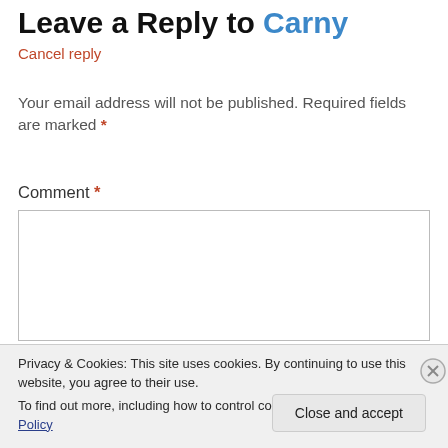Leave a Reply to Carny
Cancel reply
Your email address will not be published. Required fields are marked *
Comment *
Privacy & Cookies: This site uses cookies. By continuing to use this website, you agree to their use.
To find out more, including how to control cookies, see here: Cookie Policy